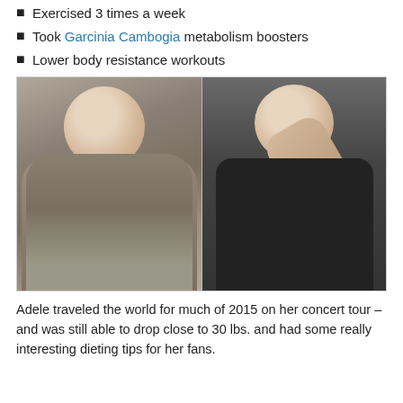Exercised 3 times a week
Took Garcinia Cambogia metabolism boosters
Lower body resistance workouts
[Figure (photo): Side-by-side before and after photos of Adele: left photo shows her heavier, wearing a grey dress and tan coat; right photo shows her slimmer, wearing black, waving and smiling.]
Adele traveled the world for much of 2015 on her concert tour – and was still able to drop close to 30 lbs. and had some really interesting dieting tips for her fans.